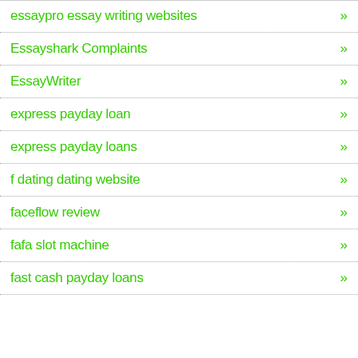essaypro essay writing websites
Essayshark Complaints
EssayWriter
express payday loan
express payday loans
f dating dating website
faceflow review
fafa slot machine
fast cash payday loans